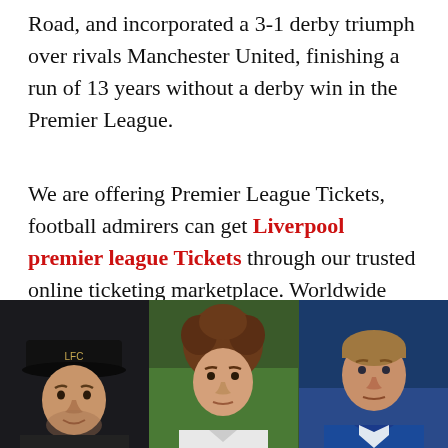Road, and incorporated a 3-1 derby triumph over rivals Manchester United, finishing a run of 13 years without a derby win in the Premier League.
We are offering Premier League Tickets, football admirers can get Liverpool premier league Tickets through our trusted online ticketing marketplace. Worldwide tickets and hospitality is the most reliable source to book Premier League tickets. Sign up for the latest Ticket alert.
[Figure (photo): Three side-by-side photos: left shows a man wearing a black Liverpool FC cap, center shows a young man with curly hair, right shows a man in blue sportswear against a blue background.]